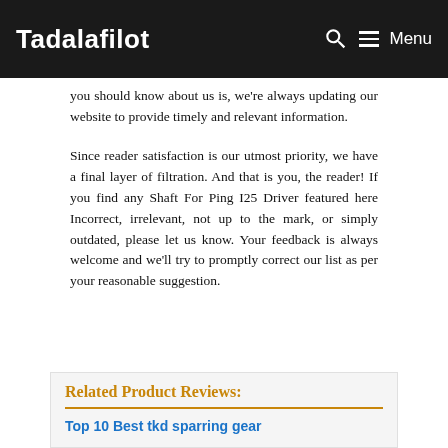Tadalafilot   Menu
you should know about us is, we're always updating our website to provide timely and relevant information.
Since reader satisfaction is our utmost priority, we have a final layer of filtration. And that is you, the reader! If you find any Shaft For Ping I25 Driver featured here Incorrect, irrelevant, not up to the mark, or simply outdated, please let us know. Your feedback is always welcome and we'll try to promptly correct our list as per your reasonable suggestion.
Related Product Reviews:
Top 10 Best tkd sparring gear